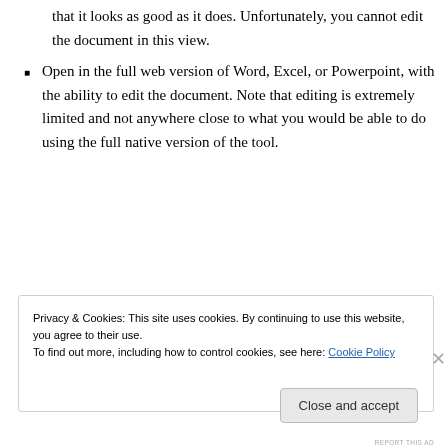that it looks as good as it does. Unfortunately, you cannot edit the document in this view.
Open in the full web version of Word, Excel, or Powerpoint, with the ability to edit the document. Note that editing is extremely limited and not anywhere close to what you would be able to do using the full native version of the tool.
[Figure (other): Advertisement banner for Pocket Casts: red background with text 'An app by listeners, for listeners.' and Pocket Casts logo]
REPORT THIS AD
Privacy & Cookies: This site uses cookies. By continuing to use this website, you agree to their use.
To find out more, including how to control cookies, see here: Cookie Policy
Close and accept